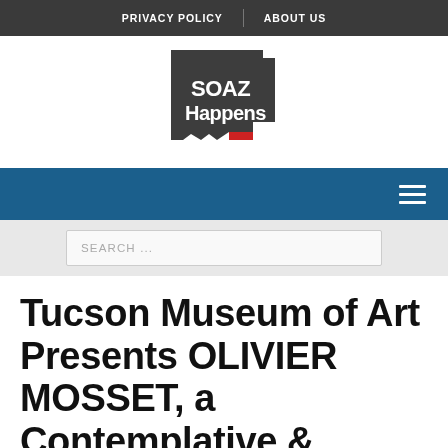PRIVACY POLICY | ABOUT US
[Figure (logo): SOAZ Happens logo: Arizona state outline in dark gray with 'SOAZ Happens' text in white and a red highlight in the southeast corner]
[Figure (other): Blue navigation bar with hamburger menu icon on the right]
SEARCH ...
Tucson Museum of Art Presents OLIVIER MOSSET, a Contemplative &